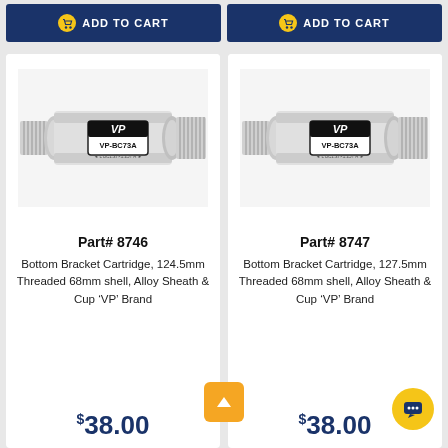[Figure (other): Dark blue ADD TO CART button with yellow cart icon, left column]
[Figure (other): Dark blue ADD TO CART button with yellow cart icon, right column]
[Figure (photo): VP-BC73A Bottom Bracket Cartridge product photo, silver threaded alloy part]
Part# 8746
Bottom Bracket Cartridge, 124.5mm Threaded 68mm shell, Alloy Sheath & Cup 'VP' Brand
$38.00
[Figure (photo): VP-BC73A Bottom Bracket Cartridge product photo, silver threaded alloy part]
Part# 8747
Bottom Bracket Cartridge, 127.5mm Threaded 68mm shell, Alloy Sheath & Cup 'VP' Brand
$38.00